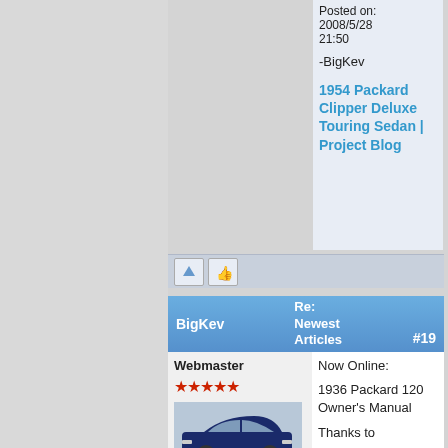Posted on: 2008/5/28 21:50
-BigKev
1954 Packard Clipper Deluxe Touring Sedan | Project Blog
[Figure (screenshot): Toolbar with up arrow button and thumbs-up icon]
| BigKev | Re: Newest Articles #19 |
| --- | --- |
Webmaster
[Figure (photo): Dark blue classic car, likely a 1950s Packard]
Now Online:
1936 Packard 120 Owner's Manual
Thanks to